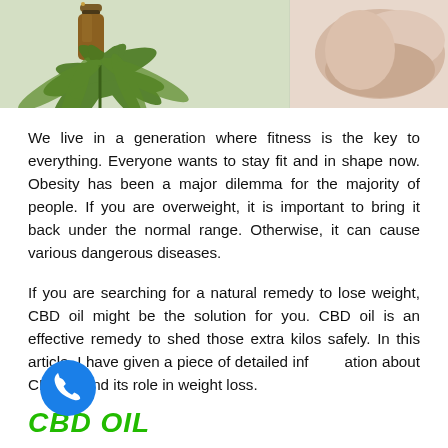[Figure (photo): Photo showing a brown amber bottle with a dropper surrounded by cannabis/hemp leaves on the left side, and a person's hand/wrist on the right side, against a light background.]
We live in a generation where fitness is the key to everything. Everyone wants to stay fit and in shape now. Obesity has been a major dilemma for the majority of people. If you are overweight, it is important to bring it back under the normal range. Otherwise, it can cause various dangerous diseases.
If you are searching for a natural remedy to lose weight, CBD oil might be the solution for you. CBD oil is an effective remedy to shed those extra kilos safely. In this article, I have given a piece of detailed information about CBD oil and its role in weight loss.
CBD OIL